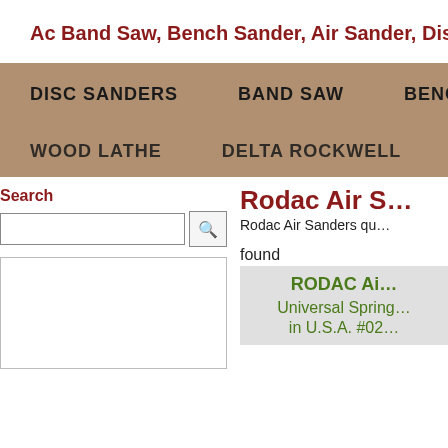Ac Band Saw, Bench Sander, Air Sander, Disk Sand…
DISC SANDERS   BAND SAW   BENCH SAND…
WOOD LATHE   DELTA ROCKWELL   POWE…
Search
found
Rodac Air S…
Rodac Air Sanders qu…
[Figure (other): Empty image box placeholder]
RODAC Ai…
Universal Spring…
in U.S.A. #02…